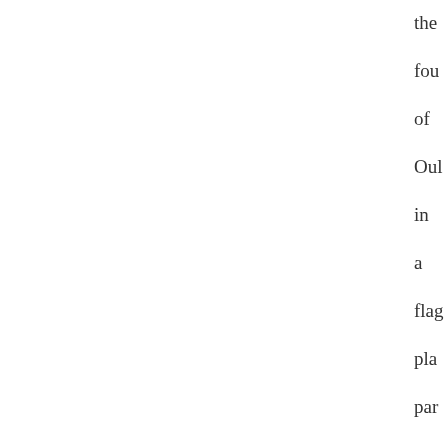the fou of Oul in a flag pla par anti of Pier Bay boo on the sub fort yea late C Gen son